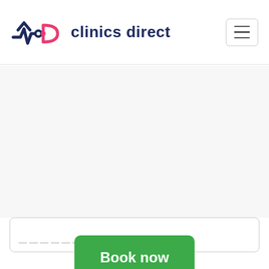[Figure (logo): Clinics Direct logo with ECG/heartbeat icon in navy and pink, brand name 'clinics direct' in navy bold text]
[Figure (other): Hamburger menu button (three horizontal lines) in a rounded rectangle border]
Book now